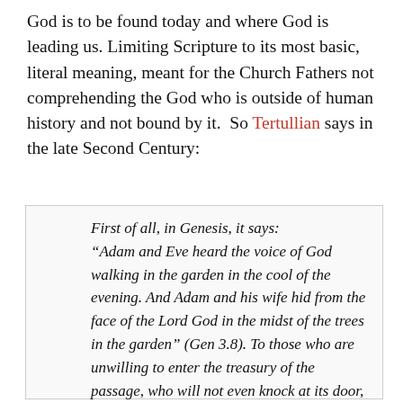God is to be found today and where God is leading us. Limiting Scripture to its most basic, literal meaning, meant for the Church Fathers not comprehending the God who is outside of human history and not bound by it.  So Tertullian says in the late Second Century:
First of all, in Genesis, it says: “Adam and Eve heard the voice of God walking in the garden in the cool of the evening. And Adam and his wife hid from the face of the Lord God in the midst of the trees in the garden” (Gen 3.8). To those who are unwilling to enter the treasury of the passage, who will not even knock at its door,